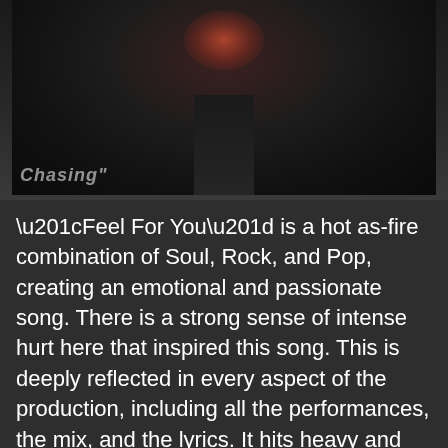[Figure (photo): Dark moody photo of a performer or figure on stage with a reddish-orange glow light source above, overlaid watermark text reading 'Chasing']
“Feel For You” is a hot as-fire combination of Soul, Rock, and Pop, creating an emotional and passionate song. There is a strong sense of intense hurt here that inspired this song. This is deeply reflected in every aspect of the production, including all the performances, the mix, and the lyrics. It hits heavy and leaves a lasting impact as it is the kind of song that is easily relatable for many people. Love